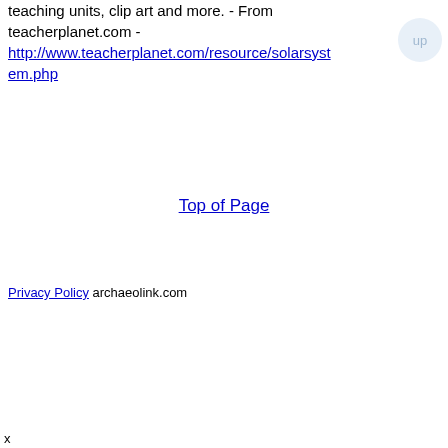teaching units, clip art and more. - From teacherplanet.com - http://www.teacherplanet.com/resource/solarsystem.php
Top of Page
Privacy Policy archaeolink.com
x